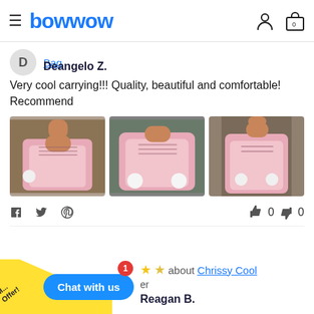bowwow
Bag
Deangelo Z.
Very cool carrying!!! Quality, beautiful and comfortable! Recommend
[Figure (photo): Three photos of a small dog (chihuahua) sitting inside a pink pet carrier bag with white pom-pom decorations]
0  0
about Chrissy Cool
Reagan B.
Chat with us